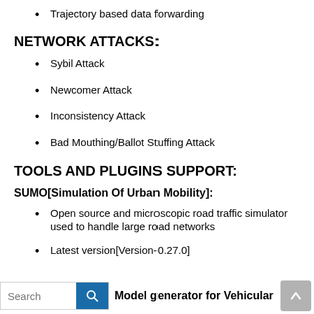Trajectory based data forwarding
NETWORK ATTACKS:
Sybil Attack
Newcomer Attack
Inconsistency Attack
Bad Mouthing/Ballot Stuffing Attack
TOOLS AND PLUGINS SUPPORT:
SUMO[Simulation Of Urban Mobility]:
Open source and microscopic road traffic simulator used to handle large road networks
Latest version[Version-0.27.0]
Model generator for Vehicular